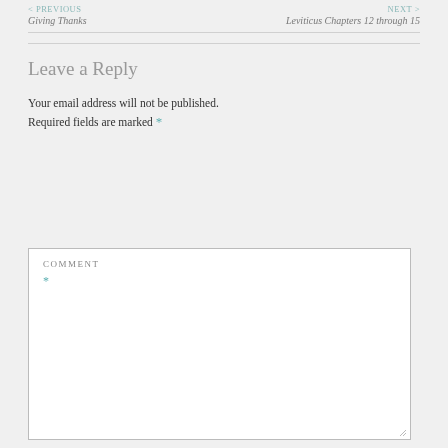< PREVIOUS  Giving Thanks    NEXT >  Leviticus Chapters 12 through 15
Leave a Reply
Your email address will not be published. Required fields are marked *
COMMENT *